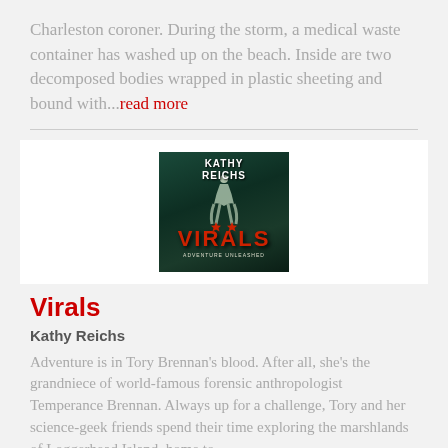Charleston coroner. During the storm, a medical waste container has washed up on the beach. Inside are two decomposed bodies wrapped in plastic sheeting and bound with...read more
[Figure (photo): Book cover for 'Virals' by Kathy Reichs, featuring a dark teal background with a silhouette of a running figure, the author name at the top, and the title 'VIRALS' in large red letters at the bottom with stars.]
Virals
Kathy Reichs
Adventure is in Tory Brennan's blood. After all, she's the grandniece of world-famous forensic anthropologist Temperance Brennan. Always up for a challenge, Tory and her science-geek friends spend their time exploring the marshlands of Loggerhead Island, home to